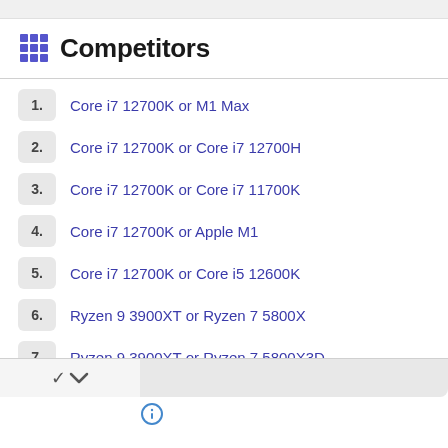Competitors
Core i7 12700K or M1 Max
Core i7 12700K or Core i7 12700H
Core i7 12700K or Core i7 11700K
Core i7 12700K or Apple M1
Core i7 12700K or Core i5 12600K
Ryzen 9 3900XT or Ryzen 7 5800X
Ryzen 9 3900XT or Ryzen 7 5800X3D